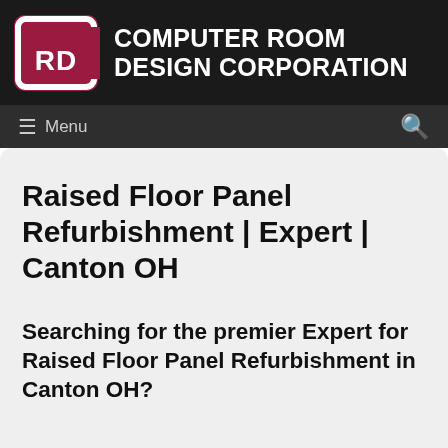[Figure (logo): Computer Room Design Corporation logo — square red background with rounded corners, white RD letters in a stylized C-shaped bracket]
COMPUTER ROOM DESIGN CORPORATION
≡ Menu
Raised Floor Panel Refurbishment | Expert | Canton OH
Searching for the premier Expert for Raised Floor Panel Refurbishment in Canton OH?